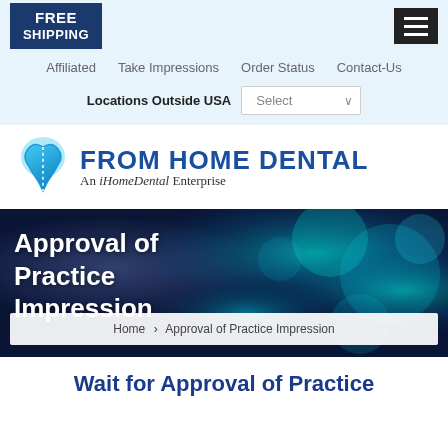[Figure (logo): FREE SHIPPING badge in navy blue, hamburger menu icon on right]
Affiliated  Take Impressions  Order Status  Contact-Us
Locations Outside USA  [Select dropdown]
[Figure (logo): From Home Dental logo with tooth icon. Text: FROM HOME DENTAL - An iHomeDental Enterprise]
[Figure (photo): Hero banner with blue bokeh background. Title: Approval of Practice Impression. Breadcrumb: Home > Approval of Practice Impression]
Wait for Approval of Practice